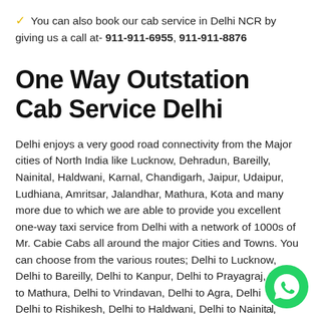✔ You can also book our cab service in Delhi NCR by giving us a call at- 911-911-6955, 911-911-8876
One Way Outstation Cab Service Delhi
Delhi enjoys a very good road connectivity from the Major cities of North India like Lucknow, Dehradun, Bareilly, Nainital, Haldwani, Karnal, Chandigarh, Jaipur, Udaipur, Ludhiana, Amritsar, Jalandhar, Mathura, Kota and many more due to which we are able to provide you excellent one-way taxi service from Delhi with a network of 1000s of Mr. Cabie Cabs all around the major Cities and Towns. You can choose from the various routes; Delhi to Lucknow, Delhi to Bareilly, Delhi to Kanpur, Delhi to Prayagraj, Delhi to Mathura, Delhi to Vrindavan, Delhi to Agra, Delhi to Delhi to Rishikesh, Delhi to Haldwani, Delhi to Nainital,